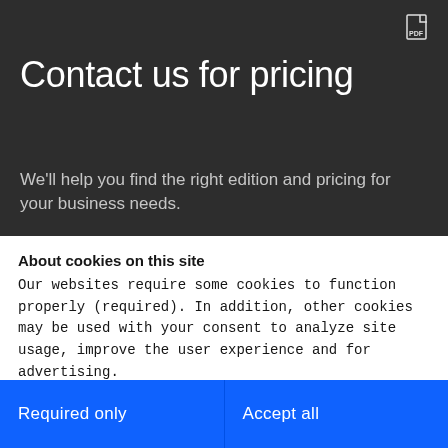PDF icon
Contact us for pricing
We'll help you find the right edition and pricing for your business needs.
About cookies on this site
Our websites require some cookies to function properly (required). In addition, other cookies may be used with your consent to analyze site usage, improve the user experience and for advertising.

For more information, please review your Cookie preferences options and IBM's privacy statement.
Required only
Accept all